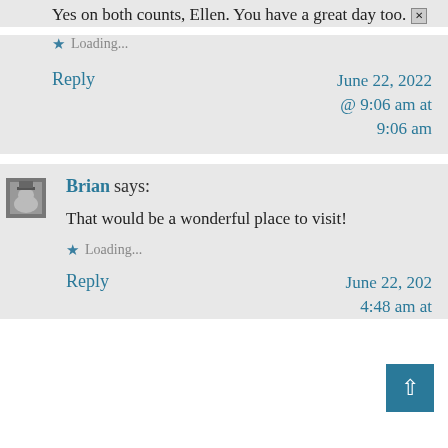Yes on both counts, Ellen. You have a great day too. [x]
Loading...
Reply
June 22, 2022 @ 9:06 am at 9:06 am
Brian says:
That would be a wonderful place to visit!
Loading...
Reply
June 22, 2022 @ 4:48 am at